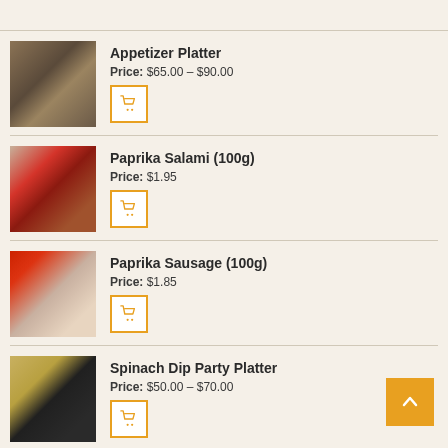Appetizer Platter — Price: $65.00 – $90.00
Paprika Salami (100g) — Price: $1.95
Paprika Sausage (100g) — Price: $1.85
Spinach Dip Party Platter — Price: $50.00 – $70.00
Pacific Rock cheese (100g) — Price: $6.90